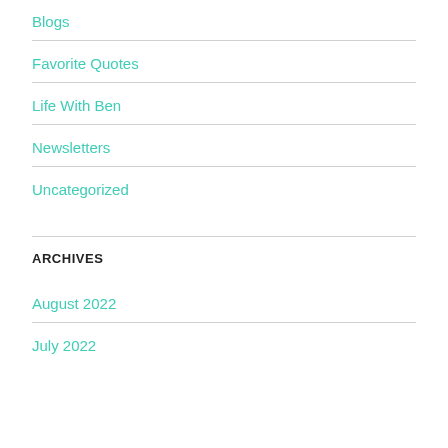Blogs
Favorite Quotes
Life With Ben
Newsletters
Uncategorized
ARCHIVES
August 2022
July 2022